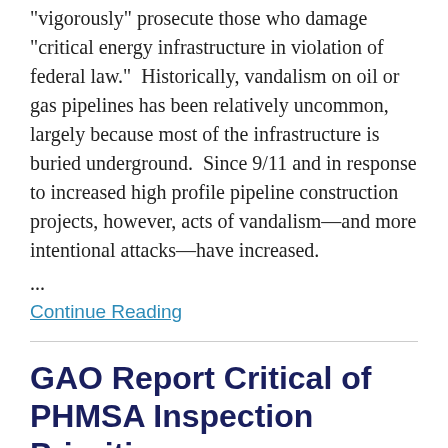"vigorously" prosecute those who damage "critical energy infrastructure in violation of federal law."  Historically, vandalism on oil or gas pipelines has been relatively uncommon, largely because most of the infrastructure is buried underground.  Since 9/11 and in response to increased high profile pipeline construction projects, however, acts of vandalism—and more intentional attacks—have increased.
...
Continue Reading
GAO Report Critical of PHMSA Inspection Priorities
By Troutman Pepper Pipeline Practice on August 8, 2017